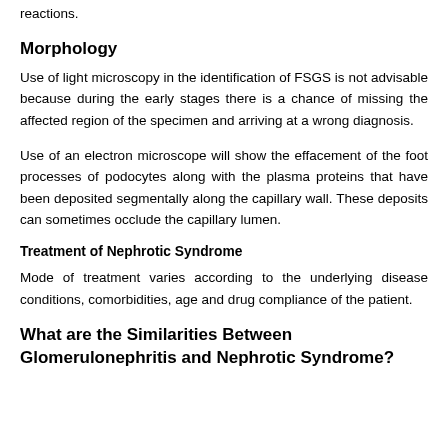reactions.
Morphology
Use of light microscopy in the identification of FSGS is not advisable because during the early stages there is a chance of missing the affected region of the specimen and arriving at a wrong diagnosis.
Use of an electron microscope will show the effacement of the foot processes of podocytes along with the plasma proteins that have been deposited segmentally along the capillary wall. These deposits can sometimes occlude the capillary lumen.
Treatment of Nephrotic Syndrome
Mode of treatment varies according to the underlying disease conditions, comorbidities, age and drug compliance of the patient.
What are the Similarities Between Glomerulonephritis and Nephrotic Syndrome?